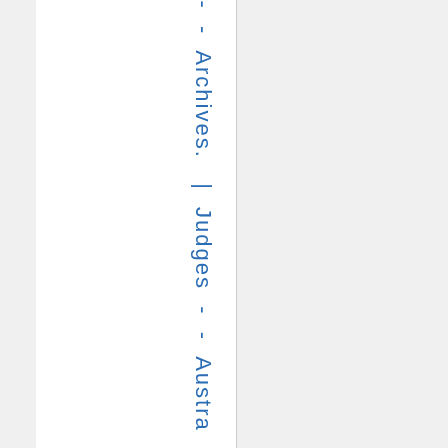a - - Archives. | Judges - - Austra